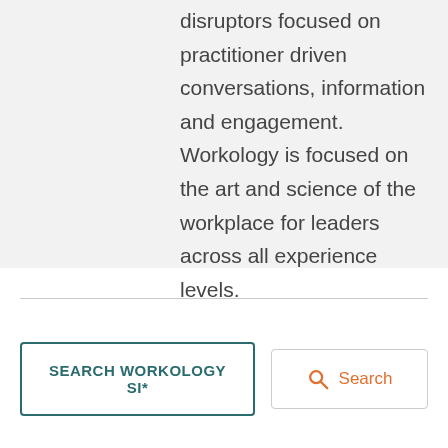disruptors focused on practitioner driven conversations, information and engagement. Workology is focused on the art and science of the workplace for leaders across all experience levels.
SEARCH WORKOLOGY SI*
Search